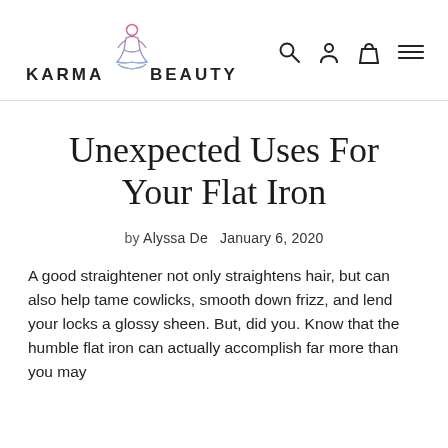KARMA BEAUTY
Unexpected Uses For Your Flat Iron
by Alyssa De   January 6, 2020
A good straightener not only straightens hair, but can also help tame cowlicks, smooth down frizz, and lend your locks a glossy sheen. But, did you. Know that the humble flat iron can actually accomplish far more than you may